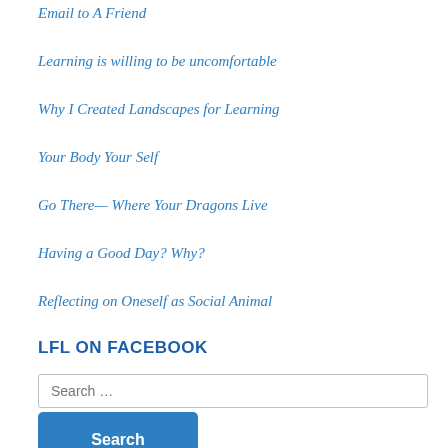Email to A Friend
Learning is willing to be uncomfortable
Why I Created Landscapes for Learning
Your Body Your Self
Go There— Where Your Dragons Live
Having a Good Day? Why?
Reflecting on Oneself as Social Animal
LFL ON FACEBOOK
Search …
Search